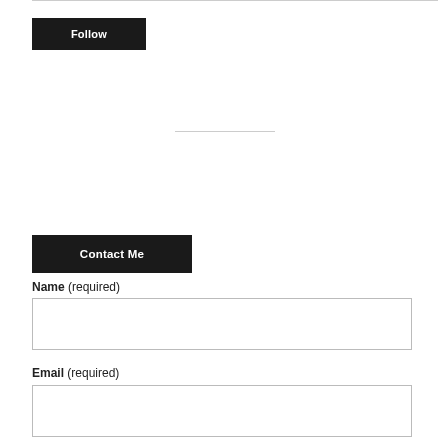[Figure (other): Follow button - black rectangular button with white bold text 'Follow']
[Figure (other): Horizontal divider line]
[Figure (other): Contact Me button - black rectangular button with white bold text 'Contact Me']
Name (required)
[Figure (other): Name input field - empty text box with border]
Email (required)
[Figure (other): Email input field - empty text box with border]